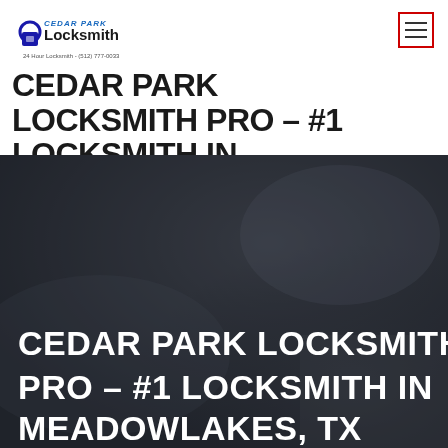[Figure (logo): Cedar Park Locksmith logo with padlock icon, text 'Cedar Park Locksmith 24 Hour Locksmith - (512) 777-0033']
CEDAR PARK LOCKSMITH PRO – #1 LOCKSMITH IN MEADOWLAKES TX
[Figure (photo): Dark background photo of locksmith tools/equipment with dark overlay. White bold text overlay reads: CEDAR PARK LOCKSMITH PRO – #1 LOCKSMITH IN MEADOWLAKES, TX]